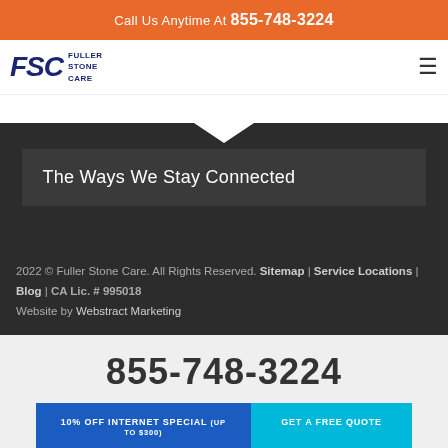Call Us Anytime At 855-748-3224
[Figure (logo): FSC Fuller Stone Care logo with dark blue text]
The Ways We Stay Connected
2022 © Fuller Stone Care. All Rights Reserved. Sitemap | Service Locations | Blog | CA Lic. # 995018
Website by Webstract Marketing
855-748-3224
10% OFF INTERNET SPECIAL (UP TO $300)
GET A FREE QUOTE